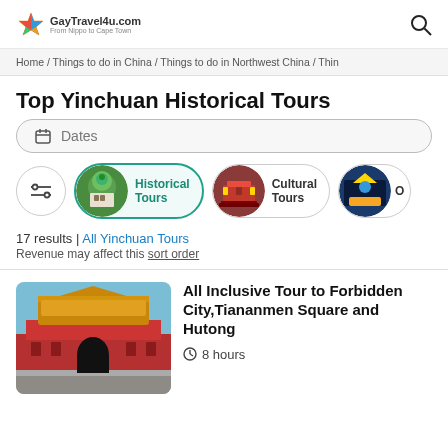GayTravel4u.com
Home / Things to do in China / Things to do in Northwest China / Thin
Top Yinchuan Historical Tours
Dates
Historical Tours
Cultural Tours
17 results | All Yinchuan Tours
Revenue may affect this sort order
[Figure (photo): Photo of Forbidden City / Tiananmen with red walls and yellow-roofed gate]
All Inclusive Tour to Forbidden City,Tiananmen Square and Hutong
8 hours